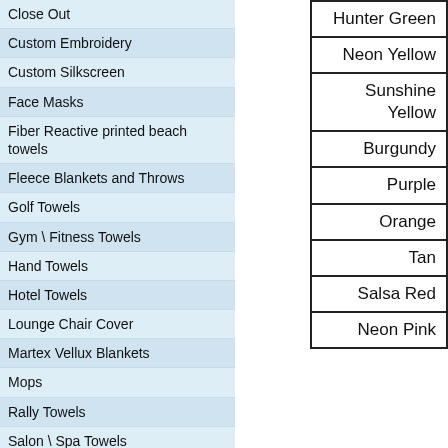Close Out
Custom Embroidery
Custom Silkscreen
Face Masks
Fiber Reactive printed beach towels
Fleece Blankets and Throws
Golf Towels
Gym \ Fitness Towels
Hand Towels
Hotel Towels
Lounge Chair Cover
Martex Vellux Blankets
Mops
Rally Towels
Salon \ Spa Towels
Sample Packs
Sheets Institutional
Washcloths
Company / Info
Towels PMS Colors
Stock Embroidery Designs
Hunter Green
Neon Yellow
Sunshine Yellow
Burgundy
Purple
Orange
Tan
Salsa Red
Neon Pink